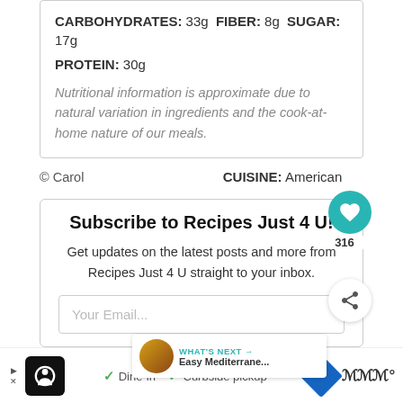CARBOHYDRATES: 33g FIBER: 8g SUGAR: 17g
PROTEIN: 30g
Nutritional information is approximate due to natural variation in ingredients and the cook-at-home nature of our meals.
© Carol   CUISINE: American
Subscribe to Recipes Just 4 U!
Get updates on the latest posts and more from Recipes Just 4 U straight to your inbox.
Your Email...
WHAT'S NEXT → Easy Mediterrane...
✓ Dine-in  ✓ Curbside pickup